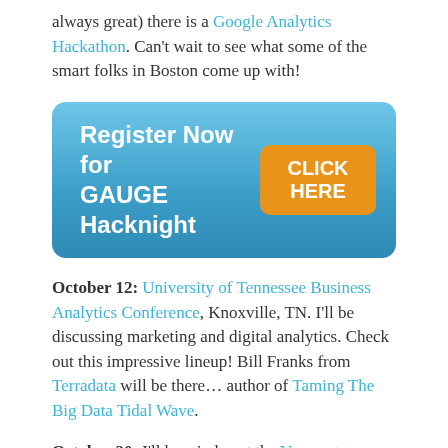always great) there is a Google Analytics Hackathon. Can't wait to see what some of the smart folks in Boston come up with!
[Figure (other): Blue rounded button banner reading 'Register Now for GAUGE Hacknight' with an orange 'CLICK HERE' button on the right]
October 12: University of Tennessee Business Analytics Conference, Knoxville, TN. I'll be discussing marketing and digital analytics. Check out this impressive lineup! Bill Franks from Terradata will be there… author of Taming The Big Data Tidal Wave.
October 20: I'll be a judge at the Vermont Hackathon. Very honored to be a judge. Really